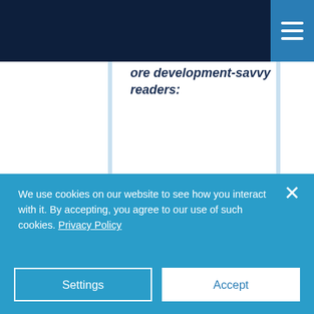ore development-savvy readers:
“There is definitely an eagerness to move away from God classes, like the RSAPI, and transition toward using REST API/ Kepler. It’s
We use cookies on our website to see how you interact with it. By accepting, you agree to our use of such cookies. Privacy Policy